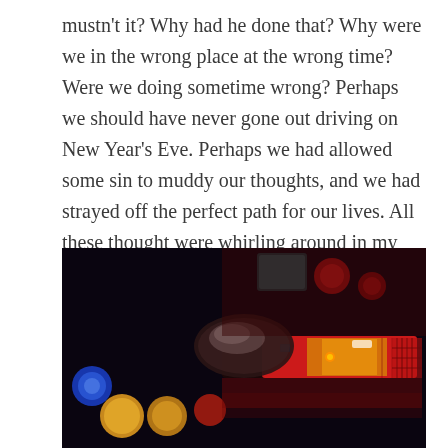mustn't it?  Why had he done that?  Why were we in the wrong place at the wrong time?  Were we doing sometime wrong?  Perhaps we should have never gone out driving on New Year's Eve.  Perhaps we had allowed some sin to muddy our thoughts, and we had strayed off the perfect path for our lives.  All these thought were whirling around in my mind, thoughts that had become the byproduct of our years in Colorado.
[Figure (photo): Close-up photograph of police car light bar at night. Red and blue emergency lights are illuminated. Background shows bokeh of other lights — blue, yellow/orange, and red circles — against a dark night scene.]